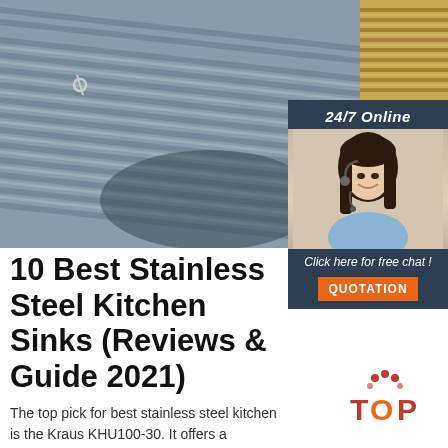[Figure (photo): Large background photo of bundled steel rebar/reinforcement bars, grey metallic rods stacked together with wire ties visible]
[Figure (photo): Small top-right photo of golden/bronze colored metal rods or wire bundles]
[Figure (infographic): 24/7 Online chat widget showing a female customer service representative wearing a headset, with dark navy background. Includes text 'Click here for free chat!' and orange QUOTATION button]
10 Best Stainless Steel Kitchen Sinks (Reviews & Guide 2021)
The top pick for best stainless steel kitchen is the Kraus KHU100-30. It offers a combination of robust construction and style, which makes it
[Figure (logo): TOP logo with orange dots above and stylized TOP text with red T, orange O, red P]